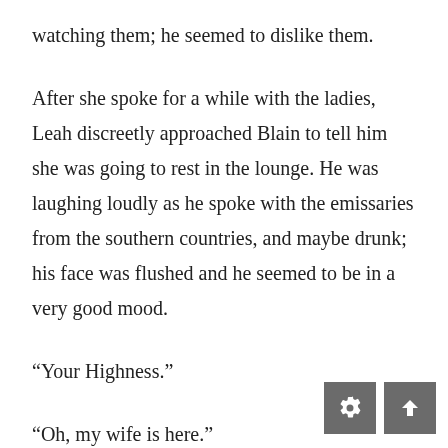watching them; he seemed to dislike them.
After she spoke for a while with the ladies, Leah discreetly approached Blain to tell him she was going to rest in the lounge. He was laughing loudly as he spoke with the emissaries from the southern countries, and maybe drunk; his face was flushed and he seemed to be in a very good mood.
“Your Highness.”
“Oh, my wife is here.”
She was not his wife yet; they had not yet been